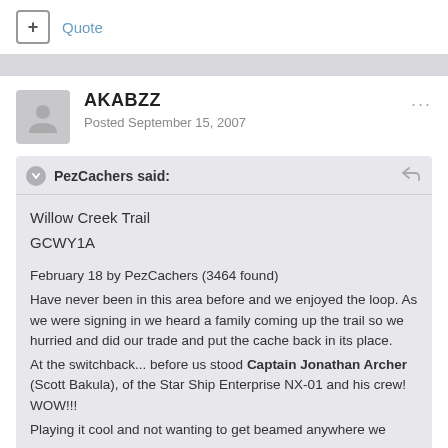+ Quote
AKABZZ
Posted September 15, 2007
PezCachers said:
Willow Creek Trail
GCWY1A

February 18 by PezCachers (3464 found)
Have never been in this area before and we enjoyed the loop. As we were signing in we heard a family coming up the trail so we hurried and did our trade and put the cache back in its place.
At the switchback... before us stood Captain Jonathan Archer (Scott Bakula), of the Star Ship Enterprise NX-01 and his crew! WOW!!!
Playing it cool and not wanting to get beamed anywhere we